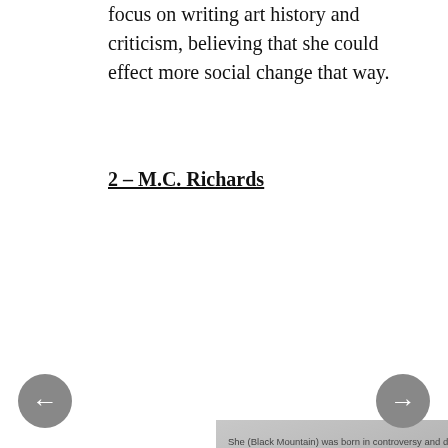focus on writing art history and criticism, believing that she could effect more social change that way.
2 – M.C. Richards
[Figure (photo): Museum exhibition wall display showing a quote by M.C. Richards about Black Mountain College, with a framed artwork below featuring a red circle on a light background.]